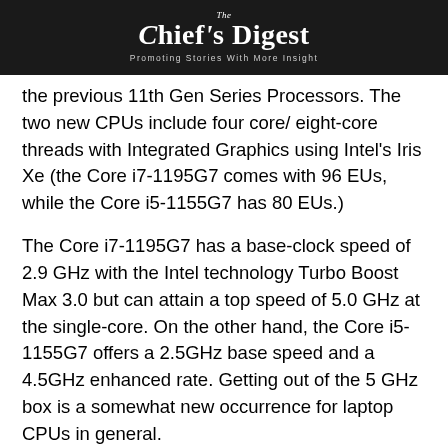The Chief's Digest — Promoting Stories With More Insight
the previous 11th Gen Series Processors. The two new CPUs include four core/ eight-core threads with Integrated Graphics using Intel's Iris Xe (the Core i7-1195G7 comes with 96 EUs, while the Core i5-1155G7 has 80 EUs.)
The Core i7-1195G7 has a base-clock speed of 2.9 GHz with the Intel technology Turbo Boost Max 3.0 but can attain a top speed of 5.0 GHz at the single-core. On the other hand, the Core i5-1155G7 offers a 2.5GHz base speed and a 4.5GHz enhanced rate. Getting out of the 5 GHz box is a somewhat new occurrence for laptop CPUs in general.
With its latest 5G modem solution for laptops, Intel